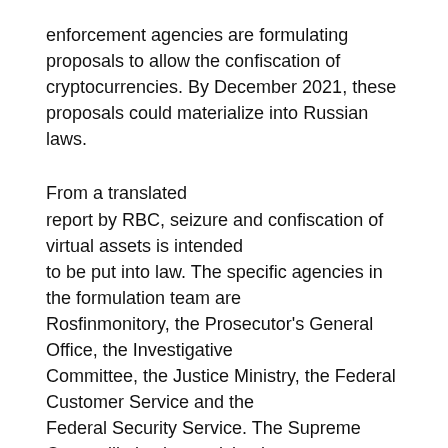enforcement agencies are formulating proposals to allow the confiscation of cryptocurrencies. By December 2021, these proposals could materialize into Russian laws.
From a translated report by RBC, seizure and confiscation of virtual assets is intended to be put into law. The specific agencies in the formulation team are Rosfinmonitory, the Prosecutor's General Office, the Investigative Committee, the Justice Ministry, the Federal Customer Service and the Federal Security Service. The Supreme Court will also be participating.